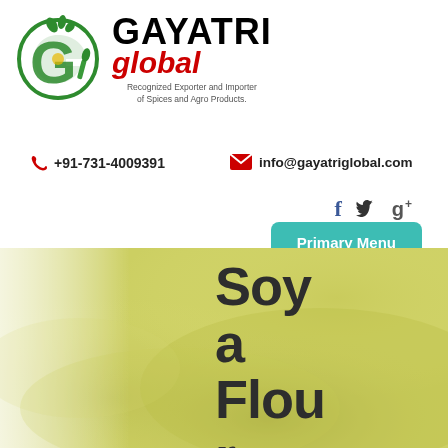[Figure (logo): Gayatri Global company logo — green circular leaf/G emblem on left, 'GAYATRI' in bold black uppercase, 'global' in red italic, tagline 'Recognized Exporter and Importer of Spices and Agro Products.']
+91-731-4009391
info@gayatriglobal.com
[Figure (infographic): Social media icons: Facebook (f), Twitter (bird), Google+ (g+)]
Primary Menu
[Figure (photo): Close-up photo of yellow-green soy flour powder with text overlay 'Soy a Flour r' in dark bold font]